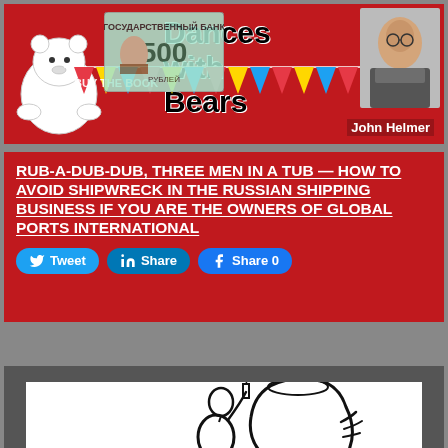[Figure (illustration): Banner for 'Dances with Bears' blog by John Helmer. Red background with a white dancing bear illustration on the left, Russian 500 ruble banknote in the center, colorful pennant bunting with 'BUY THE BOOK' text, and a photo of John Helmer on the right. Title 'Dances with Bears' in bold black text on white.]
RUB-A-DUB-DUB, THREE MEN IN A TUB — HOW TO AVOID SHIPWRECK IN THE RUSSIAN SHIPPING BUSINESS IF YOU ARE THE OWNERS OF GLOBAL PORTS INTERNATIONAL
[Figure (illustration): Social media sharing buttons: Tweet (Twitter/blue), Share (LinkedIn/blue), Share 0 (Facebook/blue)]
[Figure (illustration): Partial black-and-white line drawing illustration at bottom of page — figures in a tub, only partially visible.]